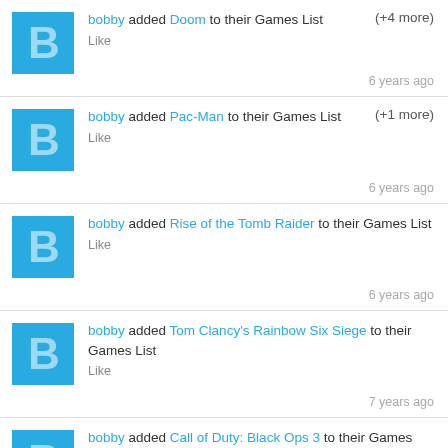bobby added Doom to their Games List (+4 more) Like 6 years ago
bobby added Pac-Man to their Games List (+1 more) Like 6 years ago
bobby added Rise of the Tomb Raider to their Games List Like 6 years ago
bobby added Tom Clancy's Rainbow Six Siege to their Games List Like 7 years ago
bobby added Call of Duty: Black Ops 3 to their Games List Like 7 years ago